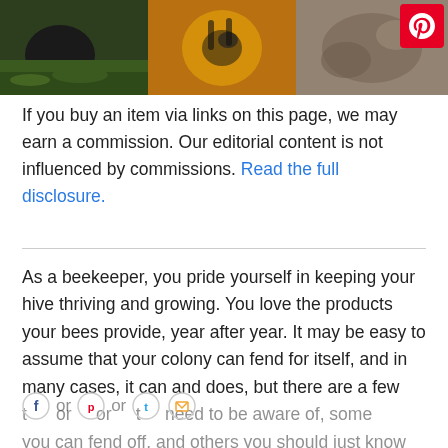[Figure (photo): Three-panel photo strip: left panel shows a black furry animal in green grass, center panel shows a bee on yellow flower, right panel shows a close-up of an animal or natural texture. A Pinterest badge (red square with white P logo) is in the top-right corner.]
If you buy an item via links on this page, we may earn a commission. Our editorial content is not influenced by commissions. Read the full disclosure.
As a beekeeper, you pride yourself in keeping your hive thriving and growing. You love the products your bees provide, year after year. It may be easy to assume that your colony can fend for itself, and in many cases, it can and does, but there are a few things or pests or threats you need to be aware of, some you can fend off, and others you should just know